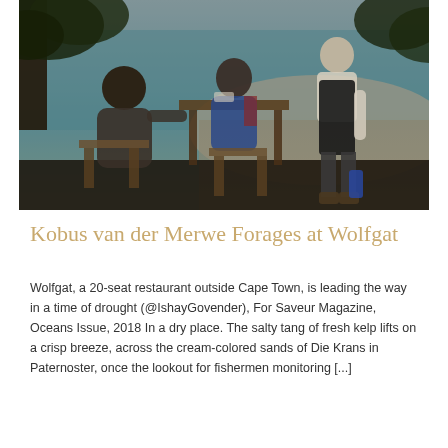[Figure (photo): Outdoor restaurant scene by the beach. Two diners seated at a wooden table under trees, with a waiter in a black apron serving them. A bright turquoise ocean and white sandy beach are visible in the background.]
Kobus van der Merwe Forages at Wolfgat
Wolfgat, a 20-seat restaurant outside Cape Town, is leading the way in a time of drought (@IshayGovender), For Saveur Magazine, Oceans Issue, 2018 In a dry place. The salty tang of fresh kelp lifts on a crisp breeze, across the cream-colored sands of Die Krans in Paternoster, once the lookout for fishermen monitoring [...]